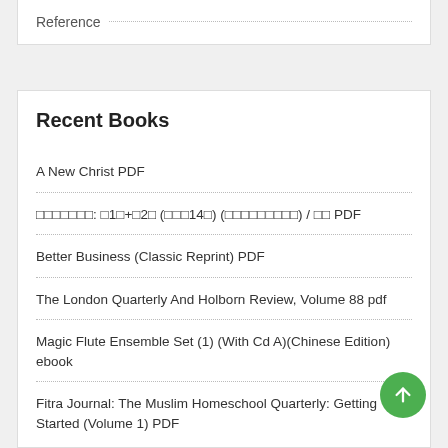Reference
Recent Books
A New Christ PDF
□□□□□□□: □1□+□2□ (□□□14□) (□□□□□□□□□) / □□ PDF
Better Business (Classic Reprint) PDF
The London Quarterly And Holborn Review, Volume 88 pdf
Magic Flute Ensemble Set (1) (With Cd A)(Chinese Edition) ebook
Fitra Journal: The Muslim Homeschool Quarterly: Getting Started (Volume 1) PDF